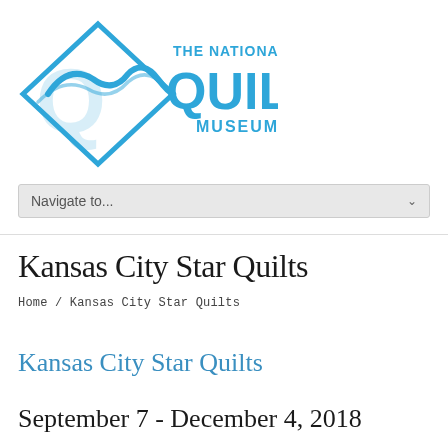[Figure (logo): The National Quilt Museum logo — blue diamond shape with wave/quilt design inside, text 'THE NATIONAL QUILT MUSEUM' in blue]
Navigate to...
Kansas City Star Quilts
Home / Kansas City Star Quilts
Kansas City Star Quilts
September 7 - December 4, 2018